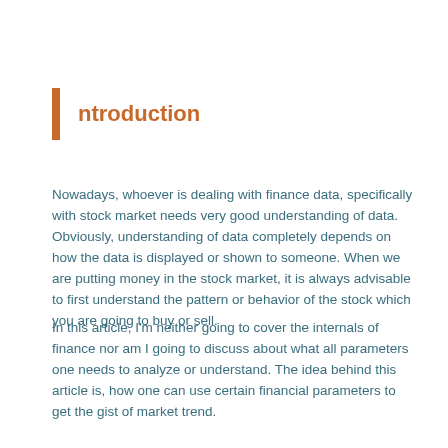ntroduction
Nowadays, whoever is dealing with finance data, specifically with stock market needs very good understanding of data. Obviously, understanding of data completely depends on how the data is displayed or shown to someone. When we are putting money in the stock market, it is always advisable to first understand the pattern or behavior of the stock which you are going to buy or sell.
In this article, I'm neither going to cover the internals of finance nor am I going to discuss about what all parameters one needs to analyze or understand. The idea behind this article is, how one can use certain financial parameters to get the gist of market trend.